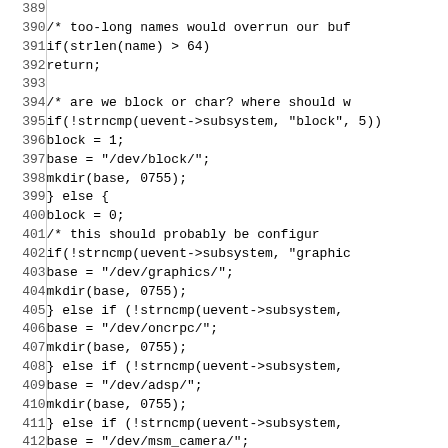Source code listing, lines 389-418, showing C code for device subsystem detection and directory creation.